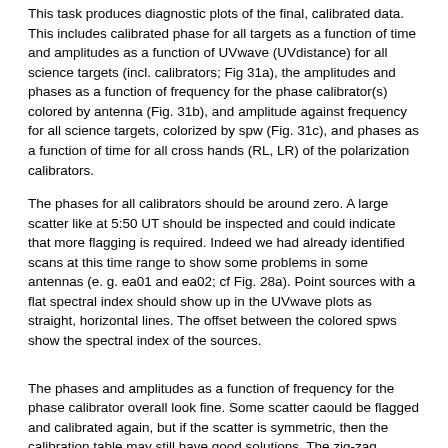This task produces diagnostic plots of the final, calibrated data. This includes calibrated phase for all targets as a function of time and amplitudes as a function of UVwave (UVdistance) for all science targets (incl. calibrators; Fig 31a), the amplitudes and phases as a function of frequency for the phase calibrator(s) colored by antenna (Fig. 31b), and amplitude against frequency for all science targets, colorized by spw (Fig. 31c), and phases as a function of time for all cross hands (RL, LR) of the polarization calibrators.
The phases for all calibrators should be around zero. A large scatter like at 5:50 UT should be inspected and could indicate that more flagging is required. Indeed we had already identified scans at this time range to show some problems in some antennas (e. g. ea01 and ea02; cf Fig. 28a). Point sources with a flat spectral index should show up in the UVwave plots as straight, horizontal lines. The offset between the colored spws show the spectral index of the sources.
The phases and amplitudes as a function of frequency for the phase calibrator overall look fine. Some scatter caould be flagged and calibrated again, but if the scatter is symmetric, then the calibration table may still have good solutions. The zig-zag pattern of the phases is due to a small mismatch in the delay measurement timing (also known as 'delay clunking'). This is an internally generated effect. Typically the effect is averaged out over time.